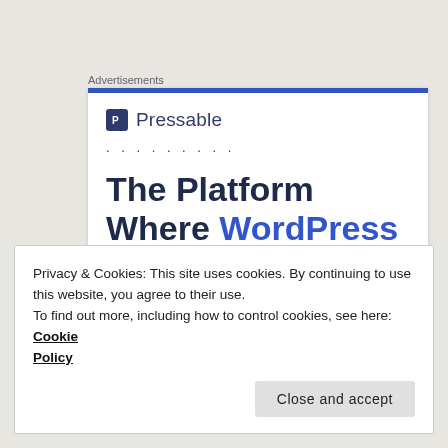Advertisements
[Figure (screenshot): Pressable advertisement banner with logo, dots, and headline text: 'The Platform Where WordPress Works Best']
Privacy & Cookies: This site uses cookies. By continuing to use this website, you agree to their use.
To find out more, including how to control cookies, see here: Cookie Policy
Close and accept